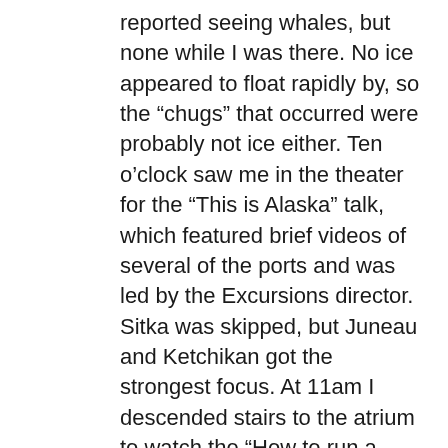reported seeing whales, but none while I was there. No ice appeared to float rapidly by, so the “chugs” that occurred were probably not ice either. Ten o’clock saw me in the theater for the “This is Alaska” talk, which featured brief videos of several of the ports and was led by the Excursions director. Sitka was skipped, but Juneau and Ketchikan got the strongest focus. At 11am I descended stairs to the atrium to watch the “How to run a cruise ship Q&A”. MC’d by the cruise director and after a brief video and introductions, the captain, XO and “Hotel” director fielded a good dozen questions from the attendees, including one from me regarding engine fuel. I sat with a couple from Edinburgh, and she taught